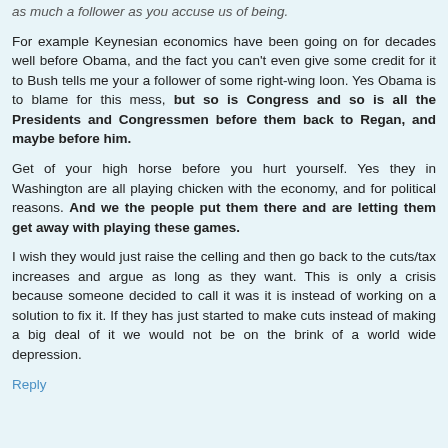as much a follower as you accuse us of being.
For example Keynesian economics have been going on for decades well before Obama, and the fact you can't even give some credit for it to Bush tells me your a follower of some right-wing loon. Yes Obama is to blame for this mess, but so is Congress and so is all the Presidents and Congressmen before them back to Regan, and maybe before him.
Get of your high horse before you hurt yourself. Yes they in Washington are all playing chicken with the economy, and for political reasons. And we the people put them there and are letting them get away with playing these games.
I wish they would just raise the celling and then go back to the cuts/tax increases and argue as long as they want. This is only a crisis because someone decided to call it was it is instead of working on a solution to fix it. If they has just started to make cuts instead of making a big deal of it we would not be on the brink of a world wide depression.
Reply